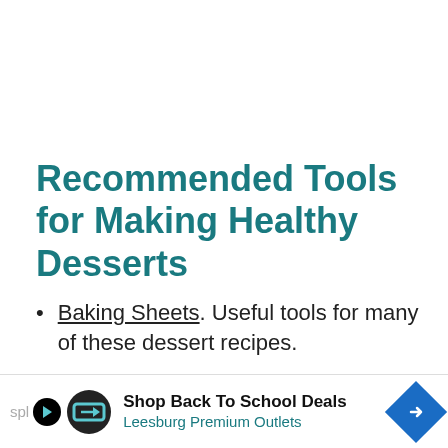Recommended Tools for Making Healthy Desserts
Baking Sheets. Useful tools for many of these dessert recipes.
Mixing Bowls. These are super useful and easy to clean.
Small Whisk. This one is small and doesn't…
[Figure (other): Advertisement banner: Shop Back To School Deals – Leesburg Premium Outlets, with play button, logo circle, and direction sign icon.]